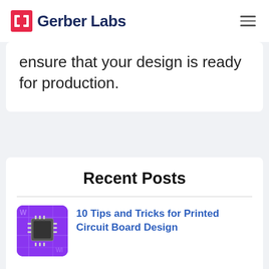Gerber Labs
ensure that your design is ready for production.
Recent Posts
[Figure (photo): Purple printed circuit board with a microchip and electronic components, used as thumbnail for blog post about PCB design tips]
10 Tips and Tricks for Printed Circuit Board Design